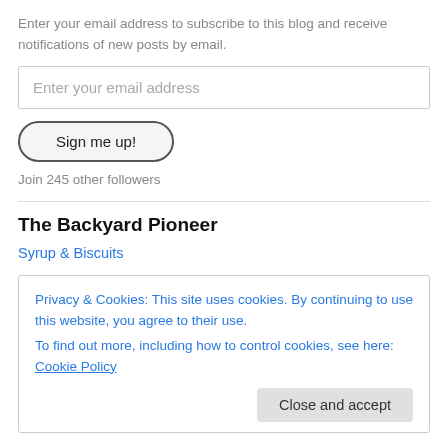Enter your email address to subscribe to this blog and receive notifications of new posts by email.
Enter your email address
Sign me up!
Join 245 other followers
The Backyard Pioneer
Syrup & Biscuits
Privacy & Cookies: This site uses cookies. By continuing to use this website, you agree to their use.
To find out more, including how to control cookies, see here: Cookie Policy
Close and accept